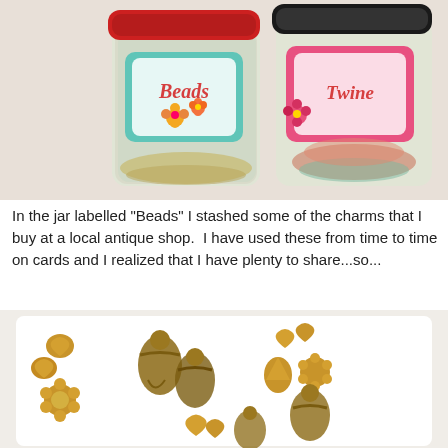[Figure (photo): Two glass jars with decorative labels. Left jar has a teal label reading 'Beads' with flower decorations and a red lid. Right jar has a pink label reading 'Twine' with floral decorations and a black lid. Jars contain beads/charms and colorful twine respectively.]
In the jar labelled "Beads" I stashed some of the charms that I buy at a local antique shop.  I have used these from time to time on cards and I realized that I have plenty to share...so...
[Figure (photo): Gold and bronze metallic charms arranged on a white background. Charms include gold heart shapes, gold flower/daisy shapes, bronze angel/cherub figures, gold teardrop/shell shapes, and gold paw print shapes.]